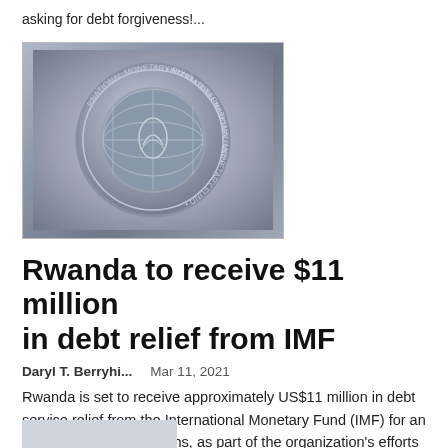asking for debt forgiveness!...
[Figure (photo): IMF (International Monetary Fund) logo plaque — a metallic circular seal with the text 'INTERNATIONAL MONETARY FUND' around the border and a globe with wheat/laurel in the center]
Rwanda to receive $11 million in debt relief from IMF
Daryl T. Berryhi...   Mar 11, 2021
Rwanda is set to receive approximately US$11 million in debt service relief from the International Monetary Fund (IMF) for an initial period of six months, as part of the organization's efforts to help cope with the impact of the COVID-19...